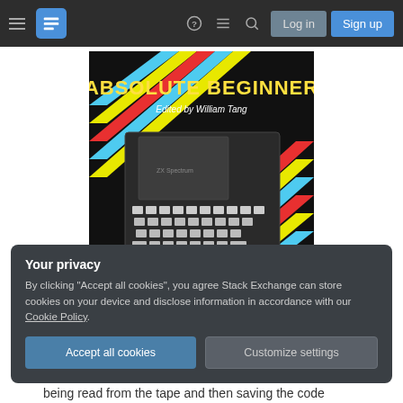Stack Exchange navigation bar with hamburger menu, logo, icons, Log in and Sign up buttons
[Figure (photo): Book cover for a ZX Spectrum book titled 'ABSOLUTE BEGINNER', Edited by William Tang, showing a ZX Spectrum computer keyboard on a black background with colorful diagonal stripes (red, yellow, cyan, green, blue).]
Your privacy
By clicking "Accept all cookies", you agree Stack Exchange can store cookies on your device and disclose information in accordance with our Cookie Policy.
Accept all cookies   Customize settings
being read from the tape and then saving the code